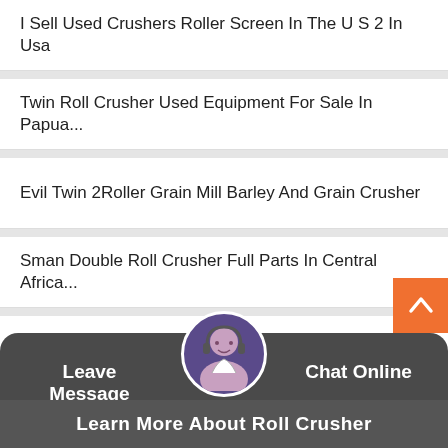I Sell Used Crushers Roller Screen In The U S 2 In Usa
Twin Roll Crusher Used Equipment For Sale In Papua...
Evil Twin 2Roller Grain Mill Barley And Grain Crusher
Sman Double Roll Crusher Full Parts In Central Africa...
Chalk Powder Roll Crusher Manufacturer Crusher Uni...
Sman Double Roll Crusher Definition For Free In Sam...
Roller Mill And Crusher For Minerals Electronics Was
Leave Message
Chat Online
Learn More About Roll Crusher